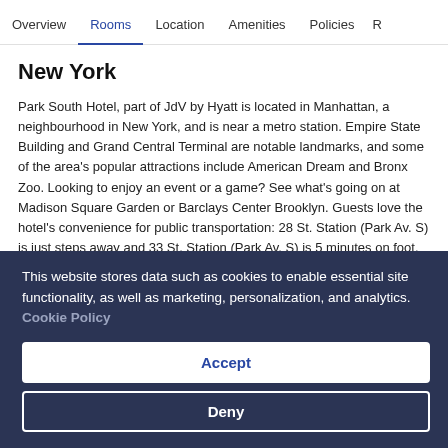Overview  Rooms  Location  Amenities  Policies  R
New York
Park South Hotel, part of JdV by Hyatt is located in Manhattan, a neighbourhood in New York, and is near a metro station. Empire State Building and Grand Central Terminal are notable landmarks, and some of the area's popular attractions include American Dream and Bronx Zoo. Looking to enjoy an event or a game? See what's going on at Madison Square Garden or Barclays Center Brooklyn. Guests love the hotel's convenience for public transportation: 28 St. Station (Park Av. S) is just steps away and 33 St. Station (Park Av. S) is 5 minutes on foot.
This website stores data such as cookies to enable essential site functionality, as well as marketing, personalization, and analytics. Cookie Policy
Accept
Deny